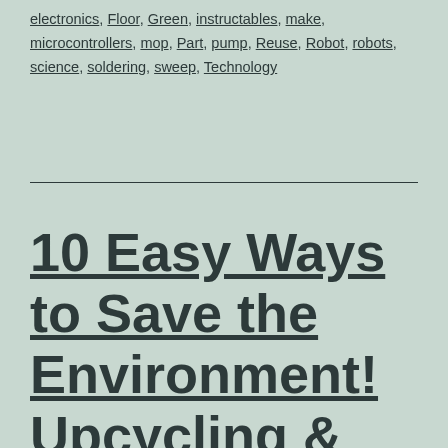electronics, Floor, Green, instructables, make, microcontrollers, mop, Part, pump, Reuse, Robot, robots, science, soldering, sweep, Technology
10 Easy Ways to Save the Environment! Upcycling & Recycling Hacks by Blossom